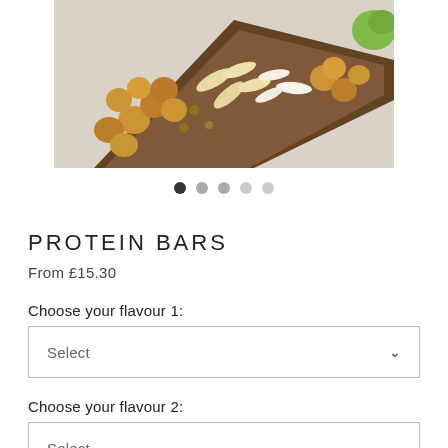[Figure (photo): Close-up photo of protein bars covered in nuts, coconut flakes, and seeds on a light background]
PROTEIN BARS
From £15.30
Choose your flavour 1:
Select
Choose your flavour 2:
Select
Choose your flavour 3: